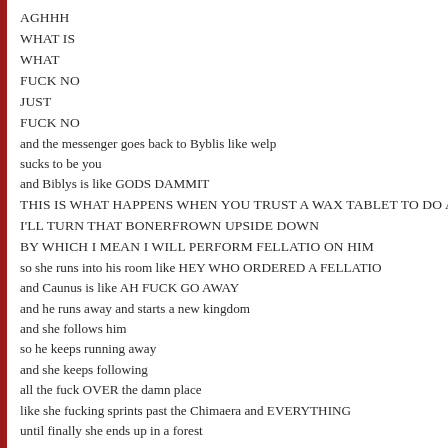AGHHH
WHAT IS
WHAT
FUCK NO
JUST
FUCK NO
and the messenger goes back to Byblis like welp
sucks to be you
and Biblys is like GODS DAMMIT
THIS IS WHAT HAPPENS WHEN YOU TRUST A WAX TABLET TO DO A WO
I'LL TURN THAT BONERFROWN UPSIDE DOWN
BY WHICH I MEAN I WILL PERFORM FELLATIO ON HIM
so she runs into his room like HEY WHO ORDERED A FELLATIO
and Caunus is like AH FUCK GO AWAY
and he runs away and starts a new kingdom
and she follows him
so he keeps running away
and she keeps following
all the fuck OVER the damn place
like she fucking sprints past the Chimaera and EVERYTHING
until finally she ends up in a forest